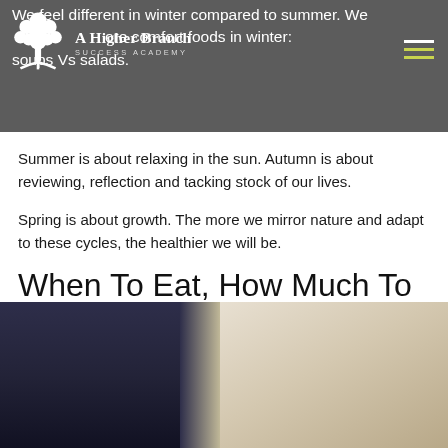We feel different in winter compared to summer. We crave more comfort foods in winter: soups Vs salads.
Summer is about relaxing in the sun. Autumn is about reviewing, reflection and tacking stock of our lives.
Spring is about growth. The more we mirror nature and adapt to these cycles, the healthier we will be.
When To Eat, How Much To Eat And How To Eat:
[Figure (photo): Person in dark blue top sitting at a table, bright background with shelving and window]